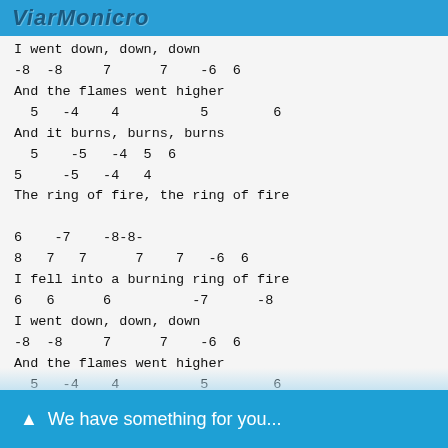ViarMonicro
I went down, down, down
-8  -8     7      7    -6  6
And the flames went higher
  5   -4    4          5        6
And it burns, burns, burns
  5    -5   -4  5  6
5     -5   -4   4
The ring of fire, the ring of fire

6    -7    -8-8-
8   7   7      7    7   -6  6
I fell into a burning ring of fire
6   6      6          -7      -8
I went down, down, down
-8  -8     7      7    -6  6
And the flames went higher
  5   -4    4          5        6
And it burns, burns, burns
We have something for you...